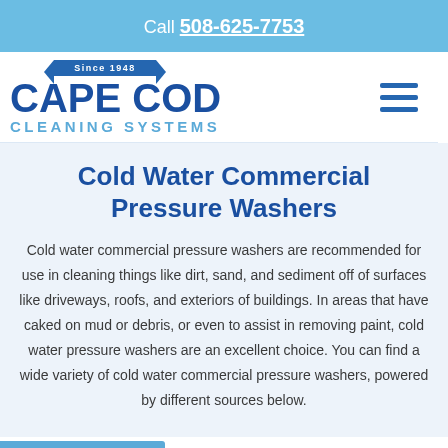Call 508-625-7753
[Figure (logo): Cape Cod Cleaning Systems logo with 'Since 1948' ribbon banner, blue text on white background]
Cold Water Commercial Pressure Washers
Cold water commercial pressure washers are recommended for use in cleaning things like dirt, sand, and sediment off of surfaces like driveways, roofs, and exteriors of buildings. In areas that have caked on mud or debris, or even to assist in removing paint, cold water pressure washers are an excellent choice. You can find a wide variety of cold water commercial pressure washers, powered by different sources below.